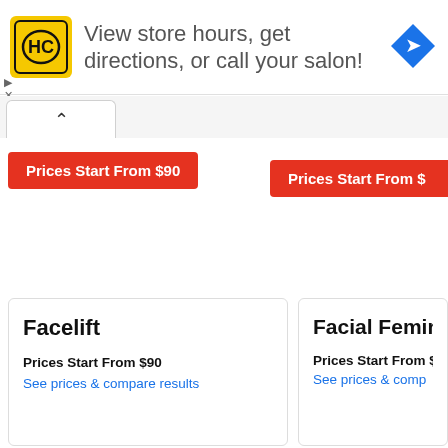[Figure (infographic): Ad banner with HC logo, text 'View store hours, get directions, or call your salon!' and a blue direction arrow icon]
Prices Start From $90
Prices Start From $
Facelift
Prices Start From $90
See prices & compare results
Facial Femini
Prices Start From $2
See prices & comp